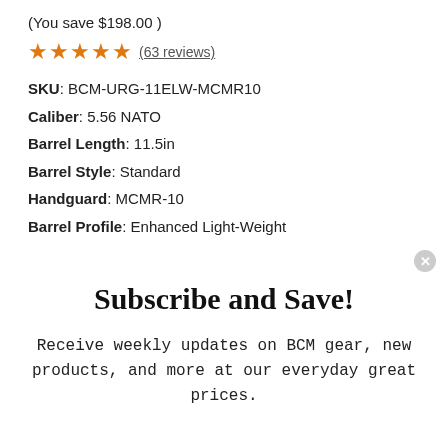(You save $198.00 )
★★★★★ (63 reviews)
SKU: BCM-URG-11ELW-MCMR10
Caliber: 5.56 NATO
Barrel Length: 11.5in
Barrel Style: Standard
Handguard: MCMR-10
Barrel Profile: Enhanced Light-Weight
Subscribe and Save!
Receive weekly updates on BCM gear, new products, and more at our everyday great prices.